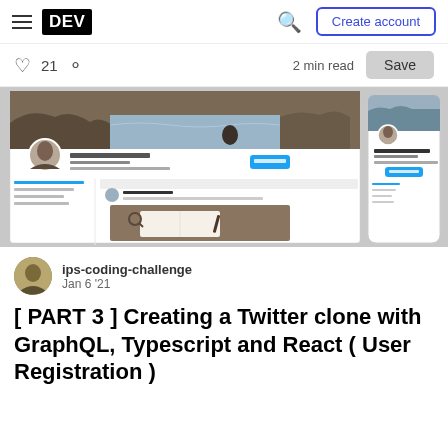DEV — Create account
21   2 min read   Save
[Figure (screenshot): Screenshot of a Twitter clone web application showing a user profile page for 'Daniel Jensen' with a coastal landscape header image, profile photo, bio text, and a post with a flat-lay image of a notebook and magnifying glass. A mobile view is also shown on the right side.]
ips-coding-challenge
Jan 6 '21
[ PART 3 ] Creating a Twitter clone with GraphQL, Typescript and React ( User Registration )